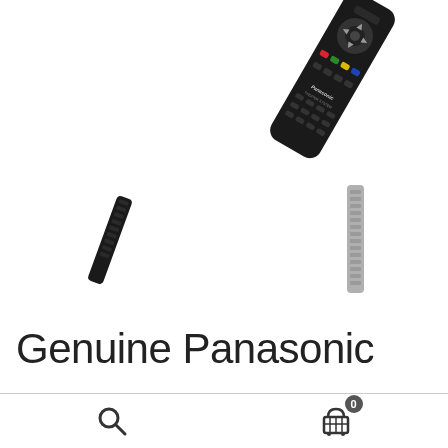[Figure (photo): Product listing screenshot showing three Panasonic remote controls: a large black Panasonic Theater System remote control shown at an angle at the top center, a small dark remote at lower left, and a small gray remote at lower center, all on a white background.]
Genuine Panasonic
[Figure (other): Bottom navigation bar with a search (magnifying glass) icon on the left and a shopping cart icon with badge showing '0' on the right, separated from content above by a horizontal divider line.]